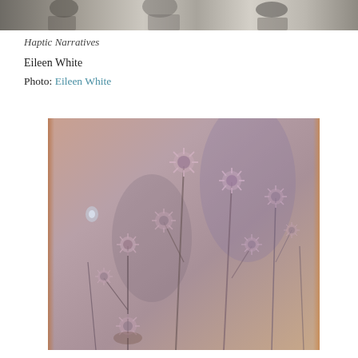[Figure (photo): Black and white photograph cropped at top of page showing people outdoors]
Haptic Narratives
Eileen White
Photo: Eileen White
[Figure (photo): Artistic photograph with warm copper/mauve tones showing dried wildflowers or thistle plants with star-burst seed heads against a soft blurred background, printed on textured paper with deckled edges]